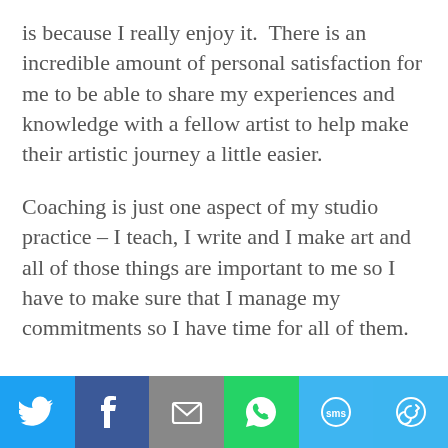is because I really enjoy it.  There is an incredible amount of personal satisfaction for me to be able to share my experiences and knowledge with a fellow artist to help make their artistic journey a little easier.
Coaching is just one aspect of my studio practice – I teach, I write and I make art and all of those things are important to me so I have to make sure that I manage my commitments so I have time for all of them.
[Figure (other): Social share bar with six buttons: Twitter (blue bird icon), Facebook (dark blue f icon), Email (grey envelope icon), WhatsApp (green phone icon), SMS (light blue SMS icon), More (light blue circular arrow icon)]